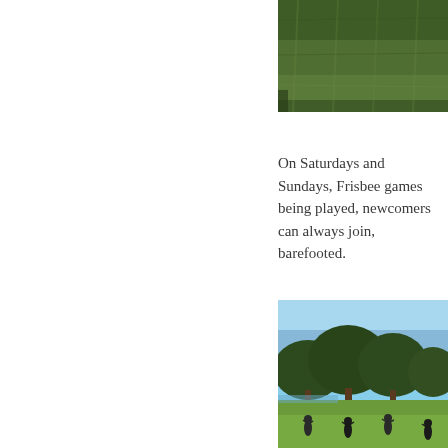[Figure (photo): Overhead or close-up view of green grass/turf field surface]
On Saturdays and Sundays, Frisbee games being played, newcomers can always join, barefooted.
[Figure (photo): People playing Frisbee on a green grass field with large trees and blue sky in background]